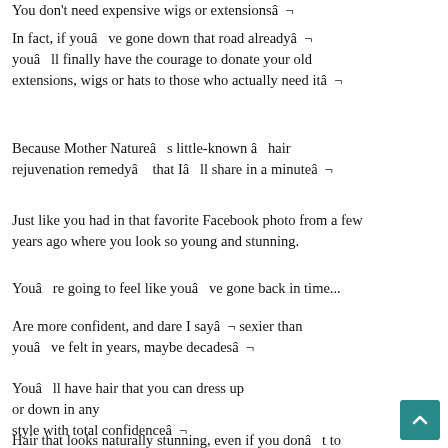You don't need expensive wigs or extensionsâ¦
In fact, if youâve gone down that road alreadyâ¦ youâll finally have the courage to donate your old extensions, wigs or hats to those who actually need itâ¦
Because Mother Natureâs little-known â hair rejuvenation remedyâ that Iâll share in a minuteâ¦
Just like you had in that favorite Facebook photo from a few years ago where you look so young and stunning.
Youâre going to feel like youâve gone back in time...
Are more confident, and dare I sayâ¦ sexier than youâve felt in years, maybe decadesâ¦
Youâll have hair that you can dress up or down in any style with total confidenceâ¦
Hair that looks naturally stunning, even if you donât to...